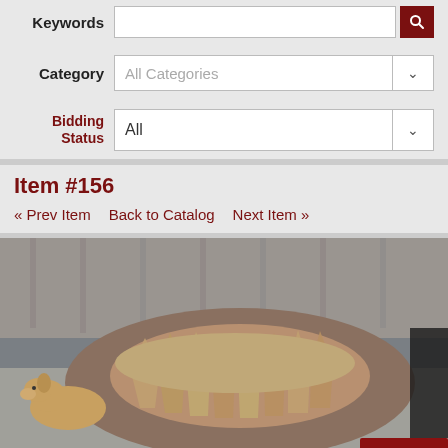Keywords
Category — All Categories
Bidding Status — All
Item #156
« Prev Item   Back to Catalog   Next Item »
[Figure (photo): Photo of a large circular arrangement of deer/elk antlers laid out on a big tractor tire on a concrete surface, with a yellow Labrador dog visible on the left side and another dark animal partially visible on the right. A wooden fence is in the background. A red button partially visible at bottom right.]